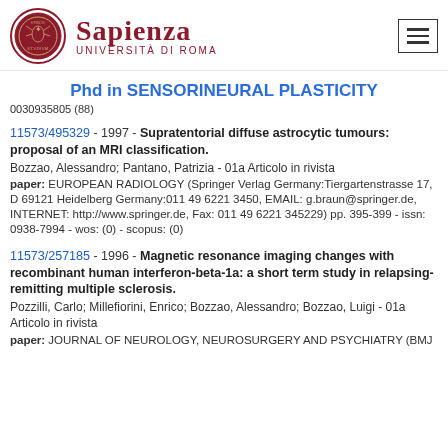Sapienza Università di Roma
Phd in SENSORINEURAL PLASTICITY
0030935805 (88)
11573/495329 - 1997 - Supratentorial diffuse astrocytic tumours: proposal of an MRI classification.
Bozzao, Alessandro; Pantano, Patrizia - 01a Articolo in rivista
paper: EUROPEAN RADIOLOGY (Springer Verlag Germany:Tiergartenstrasse 17, D 69121 Heidelberg Germany:011 49 6221 3450, EMAIL: g.braun@springer.de, INTERNET: http://www.springer.de, Fax: 011 49 6221 345229) pp. 395-399 - issn: 0938-7994 - wos: (0) - scopus: (0)
11573/257185 - 1996 - Magnetic resonance imaging changes with recombinant human interferon-beta-1a: a short term study in relapsing-remitting multiple sclerosis.
Pozzilli, Carlo; Millefiorini, Enrico; Bozzao, Alessandro; Bozzao, Luigi - 01a Articolo in rivista
paper: JOURNAL OF NEUROLOGY, NEUROSURGERY AND PSYCHIATRY (BMJ...